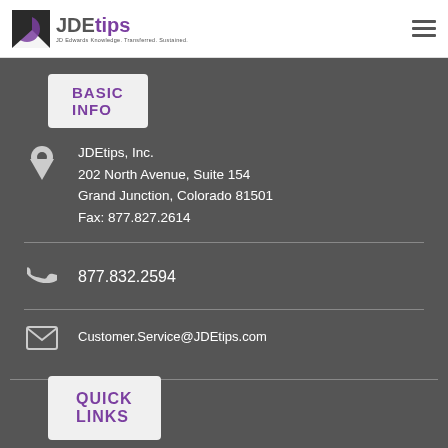JDEtips — JD Edwards Knowledge. Transferred. Sustained.
BASIC INFO
JDEtips, Inc.
202 North Avenue, Suite 154
Grand Junction, Colorado 81501
Fax: 877.827.2614
877.832.2594
Customer.Service@JDEtips.com
QUICK LINKS